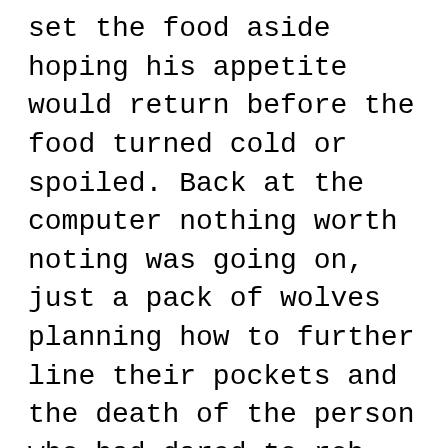set the food aside hoping his appetite would return before the food turned cold or spoiled. Back at the computer nothing worth noting was going on, just a pack of wolves planning how to further line their pockets and the death of the person who had dared to rob them. After nearly three hours Ray started to worry about Tommy and decided against his better judgment to call him. He hit speed dial and waited.
	Tommy had entered the premises and disarmed the security system. He had watched the house and its entire property for more than an hour prior to making his move. Other than a